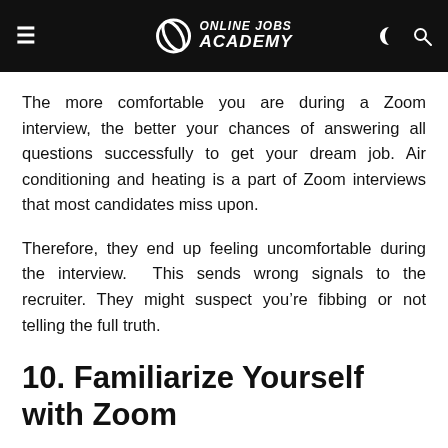Online Jobs Academy
The more comfortable you are during a Zoom interview, the better your chances of answering all questions successfully to get your dream job. Air conditioning and heating is a part of Zoom interviews that most candidates miss upon.
Therefore, they end up feeling uncomfortable during the interview. This sends wrong signals to the recruiter. They might suspect you're fibbing or not telling the full truth.
10. Familiarize Yourself with Zoom